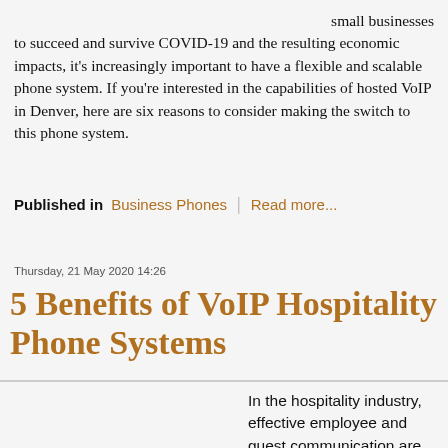small businesses to succeed and survive COVID-19 and the resulting economic impacts, it's increasingly important to have a flexible and scalable phone system. If you're interested in the capabilities of hosted VoIP in Denver, here are six reasons to consider making the switch to this phone system.
Published in Business Phones | Read more...
Thursday, 21 May 2020 14:26
5 Benefits of VoIP Hospitality Phone Systems
In the hospitality industry, effective employee and guest communication are necessary to